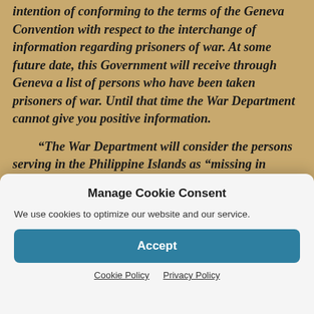intention of conforming to the terms of the Geneva Convention with respect to the interchange of information regarding prisoners of war.  At some future date, this Government will receive through Geneva a list of persons who have been taken prisoners of war.  Until that time the War Department cannot give you positive information.
“The War Department will consider the persons serving in the Philippine Islands as “missing in action” from the date of surrender of Corregidor, May 7, 1942, until definite information to the contrary is received.  It is to be hoped that the Japanese Government will
Manage Cookie Consent
We use cookies to optimize our website and our service.
Accept
Cookie Policy   Privacy Policy